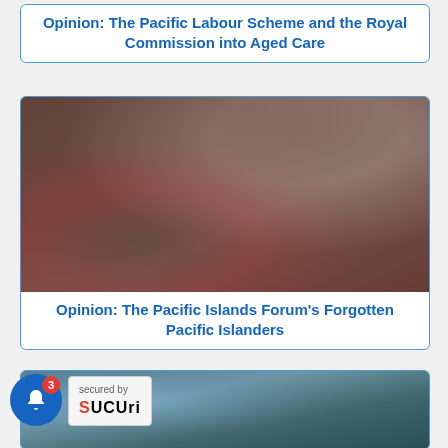Opinion: The Pacific Labour Scheme and the Royal Commission into Aged Care
[Figure (photo): Blurred/abstract photograph with dark reddish-brown and grayish tones serving as article thumbnail image]
Opinion: The Pacific Islands Forum’s Forgotten Pacific Islanders
[Figure (photo): Blurred/abstract photograph with blue-gray and dark green tones serving as article thumbnail image, partially visible at bottom]
[Figure (other): Browser notification bell button (blue circle with white bell icon and red badge showing 3) with Sucuri security badge overlay]